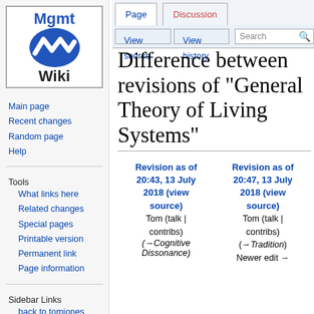[Figure (logo): Management Wiki logo: blue oval with white W wave symbol, text 'Mgmt' in blue above and 'Wiki' in black below, inside a bordered box]
Log in
Page | Discussion | View source | View history | Search
Difference between revisions of "General Theory of Living Systems"
| Revision as of 20:43, 13 July 2018 (view source) | Revision as of 20:47, 13 July 2018 (view source) |
| --- | --- |
| Tom (talk | contribs) | Tom (talk | contribs) |
| (→Cognitive Dissonance) | (→Tradition)
Newer edit → |
Main page
Recent changes
Random page
Help
Tools
What links here
Related changes
Special pages
Printable version
Permanent link
Page information
Sidebar Links
back to tomjones